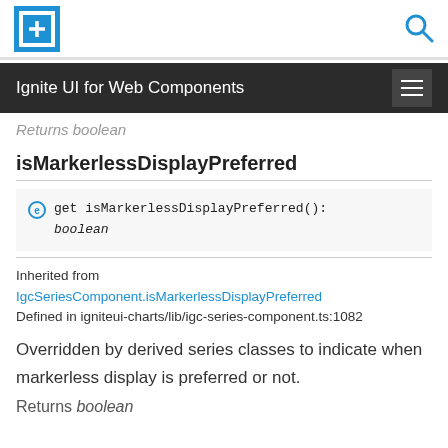Ignite UI for Web Components
Returns boolean
isMarkerlessDisplayPreferred
get isMarkerlessDisplayPreferred(): boolean
Inherited from IgcSeriesComponent.isMarkerlessDisplayPreferred
Defined in igniteui-charts/lib/igc-series-component.ts:1082
Overridden by derived series classes to indicate when markerless display is preferred or not.
Returns boolean